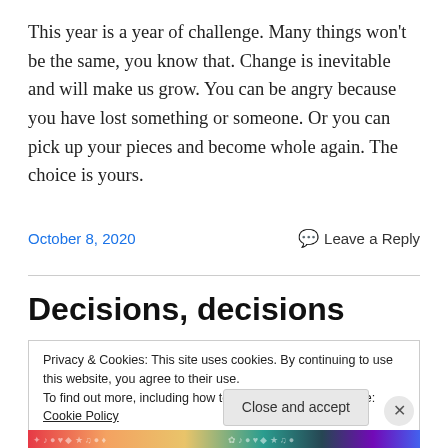This year is a year of challenge. Many things won't be the same, you know that. Change is inevitable and will make us grow. You can be angry because you have lost something or someone. Or you can pick up your pieces and become whole again. The choice is yours.
October 8, 2020
Leave a Reply
Decisions, decisions
Privacy & Cookies: This site uses cookies. By continuing to use this website, you agree to their use.
To find out more, including how to control cookies, see here: Cookie Policy
Close and accept